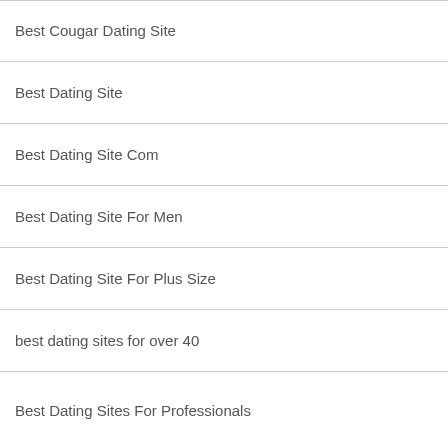Best Cougar Dating Site
Best Dating Site
Best Dating Site Com
Best Dating Site For Men
Best Dating Site For Plus Size
best dating sites for over 40
Best Dating Sites For Professionals